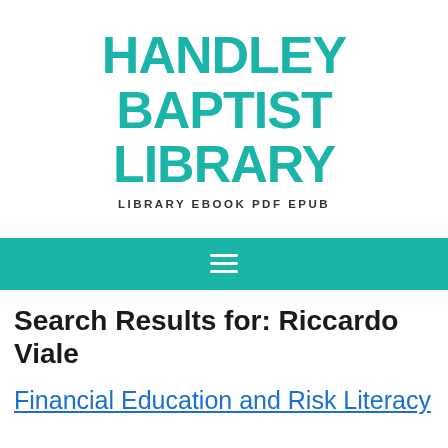HANDLEY BAPTIST LIBRARY
LIBRARY EBOOK PDF EPUB
Search Results for: Riccardo Viale
Financial Education and Risk Literacy